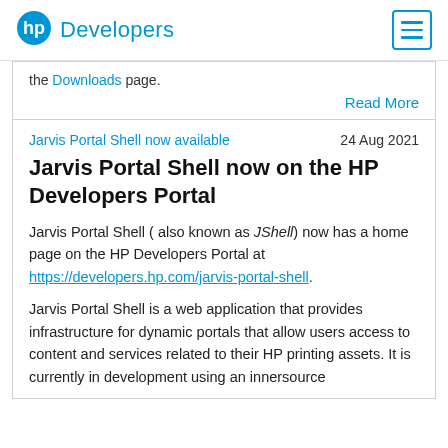HP Developers
the Downloads page.
Read More
Jarvis Portal Shell now available   24 Aug 2021
Jarvis Portal Shell now on the HP Developers Portal
Jarvis Portal Shell ( also known as JShell) now has a home page on the HP Developers Portal at https://developers.hp.com/jarvis-portal-shell.
Jarvis Portal Shell is a web application that provides infrastructure for dynamic portals that allow users access to content and services related to their HP printing assets. It is currently in development using an innersource